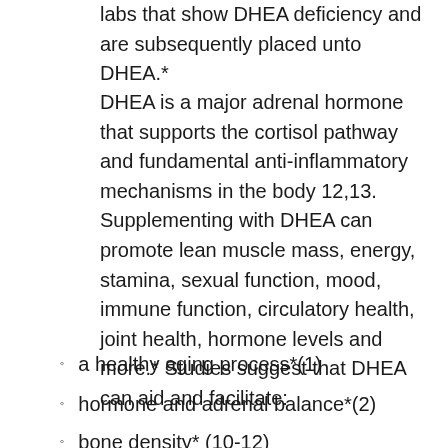labs that show DHEA deficiency and are subsequently placed unto DHEA.*
DHEA is a major adrenal hormone that supports the cortisol pathway and fundamental anti-inflammatory mechanisms in the body 12,13. Supplementing with DHEA can promote lean muscle mass, energy, stamina, sexual function, mood, immune function, circulatory health, joint health, hormone levels and more.* Studies suggest that DHEA can aid and facilitate:
a healthy aging process*(1)
hormone and adrenal balance*(2)
bone density* (10-12)